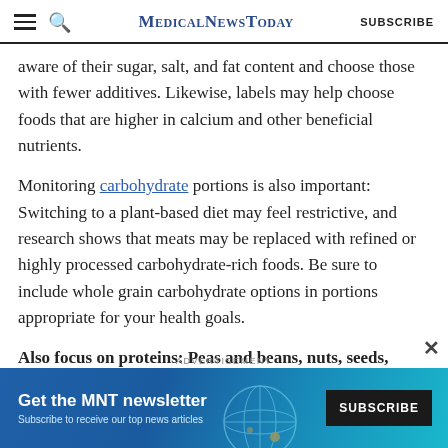MedicalNewsToday — SUBSCRIBE
aware of their sugar, salt, and fat content and choose those with fewer additives. Likewise, labels may help choose foods that are higher in calcium and other beneficial nutrients.
Monitoring carbohydrate portions is also important: Switching to a plant-based diet may feel restrictive, and research shows that meats may be replaced with refined or highly processed carbohydrate-rich foods. Be sure to include whole grain carbohydrate options in portions appropriate for your health goals.
Also focus on proteins: Peas and beans, nuts, seeds, seitan, textured vegetable protein, tofu, tempeh
[Figure (infographic): Advertisement banner for MNT newsletter with text 'Get the MNT newsletter', 'Subscribe to receive our top news articles', and a SUBSCRIBE button on dark background, with globe graphic.]